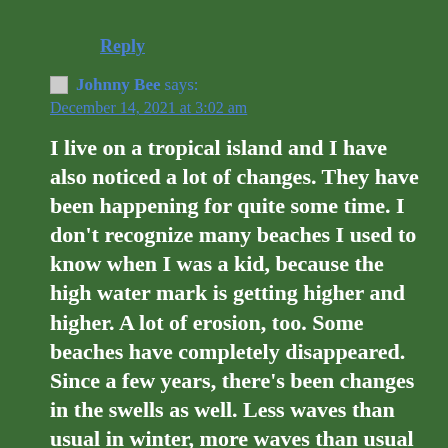Reply
Johnny Bee says:
December 14, 2021 at 3:02 am
I live on a tropical island and I have also noticed a lot of changes. They have been happening for quite some time. I don't recognize many beaches I used to know when I was a kid, because the high water mark is getting higher and higher. A lot of erosion, too. Some beaches have completely disappeared. Since a few years, there's been changes in the swells as well. Less waves than usual in winter, more waves than usual in summer. Out of season cyclones. Higher temperature